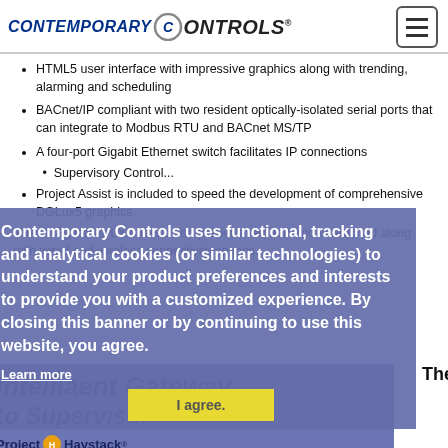CONTEMPORARY CONTROLS
HTML5 user interface with impressive graphics along with trending, alarming and scheduling
BACnet/IP compliant with two resident optically-isolated serial ports that can integrate to Modbus RTU and BACnet MS/TP
A four-port Gigabit Ethernet switch facilitates IP connections
Supervisory Control...
Project Assist is included to speed the development of comprehensive DGLux5 graphics.
The BASgatewayLX offers a comprehensive head-end is required along with wired and wireless connectivity options.
Contemporary Controls uses functional, tracking and analytical cookies (or similar technologies) to understand your product preferences and interests to provide you with a customized experience. By closing this banner or by continuing to use this website, you agree.
Learn more
I agree.
[Figure (infographic): Intelligent Gateway to Supervisor promotional banner with Project Haystack logo]
The